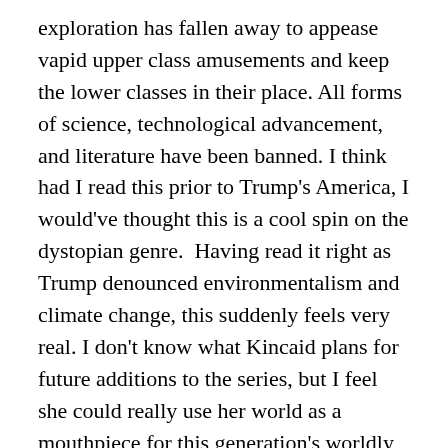exploration has fallen away to appease vapid upper class amusements and keep the lower classes in their place. All forms of science, technological advancement, and literature have been banned. I think had I read this prior to Trump's America, I would've thought this is a cool spin on the dystopian genre.  Having read it right as Trump denounced environmentalism and climate change, this suddenly feels very real. I don't know what Kincaid plans for future additions to the series, but I feel she could really use her world as a mouthpiece for this generation's worldly struggles. I truly think she could do some amazing, on point things with it. And I'm interested to see more!
In terms of the character developments, I had a